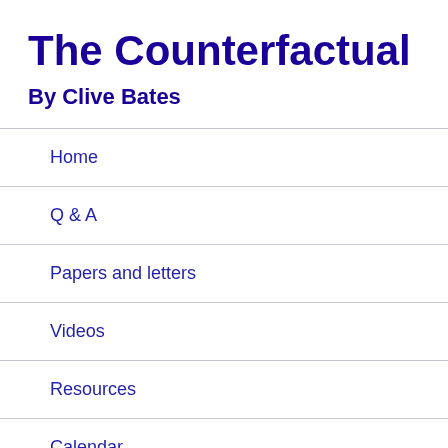The Counterfactual
By Clive Bates
Home
Q & A
Papers and letters
Videos
Resources
Calendar